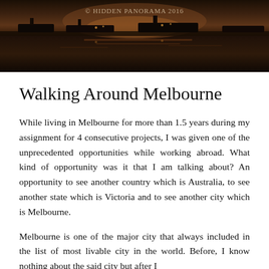[Figure (photo): Header photograph of a waterfront/harbor scene at dusk with boats and reflections on water, dark warm tones. Watermark reads '© HIDDEN PANORAMA 2016'.]
Walking Around Melbourne
While living in Melbourne for more than 1.5 years during my assignment for 4 consecutive projects, I was given one of the unprecedented opportunities while working abroad. What kind of opportunity was it that I am talking about? An opportunity to see another country which is Australia, to see another state which is Victoria and to see another city which is Melbourne.
Melbourne is one of the major city that always included in the list of most livable city in the world. Before, I know nothing about the said city but after I